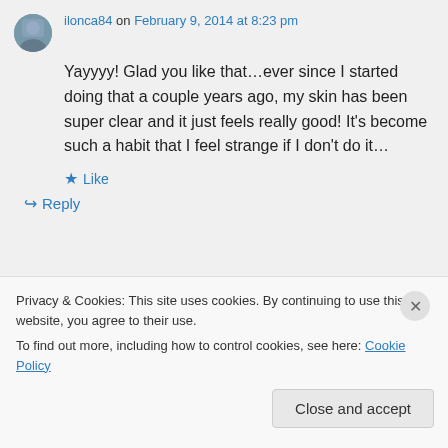ilonca84 on February 9, 2014 at 8:23 pm
Yayyyy! Glad you like that…ever since I started doing that a couple years ago, my skin has been super clear and it just feels really good! It's become such a habit that I feel strange if I don't do it…
★ Like
↳ Reply
Privacy & Cookies: This site uses cookies. By continuing to use this website, you agree to their use. To find out more, including how to control cookies, see here: Cookie Policy
Close and accept